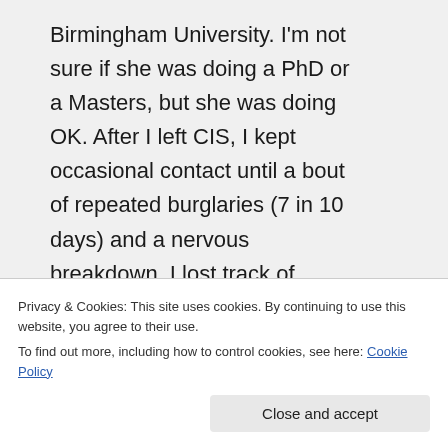Birmingham University. I'm not sure if she was doing a PhD or a Masters, but she was doing OK. After I left CIS, I kept occasional contact until a bout of repeated burglaries (7 in 10 days) and a nervous breakdown, I lost track of people
Privacy & Cookies: This site uses cookies. By continuing to use this website, you agree to their use.
To find out more, including how to control cookies, see here: Cookie Policy